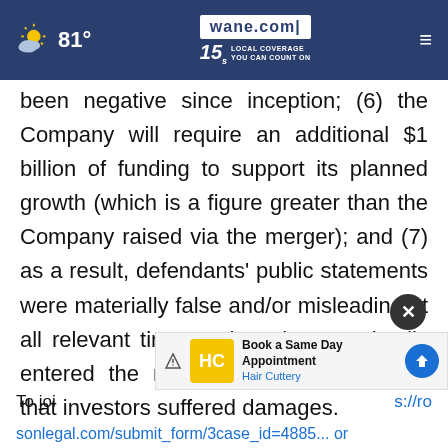81° | wane.com | 15 LOCAL COVERAGE YOU CAN COUNT ON
been negative since inception; (6) the Company will require an additional $1 billion of funding to support its planned growth (which is a figure greater than the Company raised via the merger); and (7) as a result, defendants’ public statements were materially false and/or misleading at all relevant times. When the true details entered the market, the lawsuit claims that investors suffered damages.
To joi... s://ro
sonlegal.com/submit_form/3case_id=4885... or